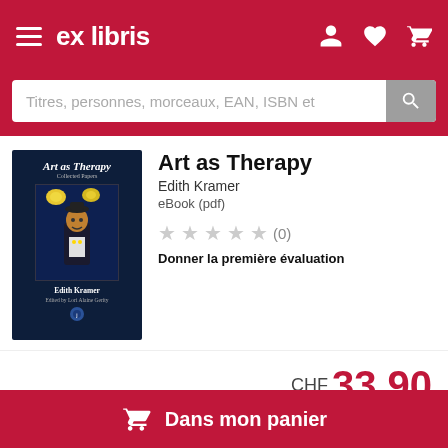ex libris
Titres, personnes, morceaux, EAN, ISBN et
[Figure (photo): Book cover of 'Art as Therapy' by Edith Kramer, dark navy blue background with a stylized painting of a figure]
Art as Therapy
Edith Kramer
eBook (pdf)
★★★★★ (0)
Donner la première évaluation
CHF 33.90
Dans mon panier